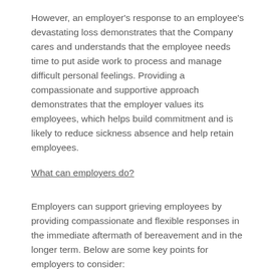However, an employer's response to an employee's devastating loss demonstrates that the Company cares and understands that the employee needs time to put aside work to process and manage difficult personal feelings. Providing a compassionate and supportive approach demonstrates that the employer values its employees, which helps build commitment and is likely to reduce sickness absence and help retain employees.
What can employers do?
Employers can support grieving employees by providing compassionate and flexible responses in the immediate aftermath of bereavement and in the longer term. Below are some key points for employers to consider:
Have a policy on bereavement leave as part of